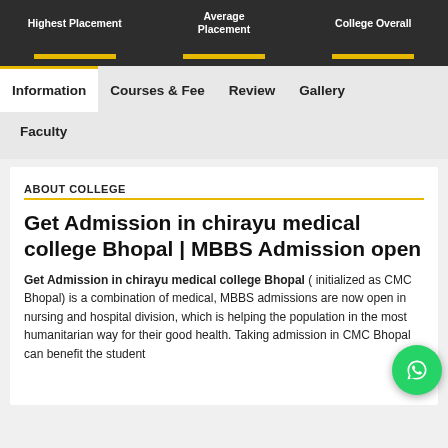Highest Placement | Average Placement | College Overall
Information
Courses & Fee
Review
Gallery
Faculty
ABOUT COLLEGE
Get Admission in chirayu medical college Bhopal | MBBS Admission open
Get Admission in chirayu medical college Bhopal ( initialized as CMC Bhopal) is a combination of medical, MBBS admissions are now open in nursing and hospital division, which is helping the population in the most humanitarian way for their good health. Taking admission in CMC Bhopal can benefit the student